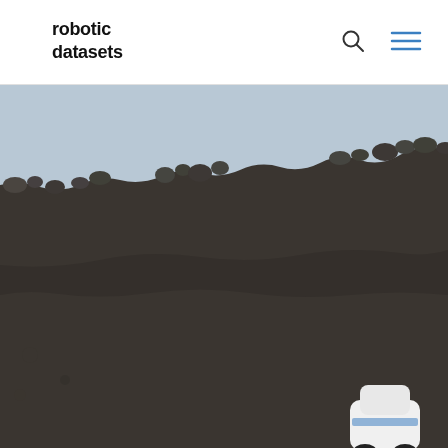robotic datasets
[Figure (photo): Outdoor scene showing a volcanic or rocky terrain with dark sandy/rocky ground and a ridge line at mid-frame against a pale blue sky. A small white robot is partially visible at the bottom right corner of the image.]